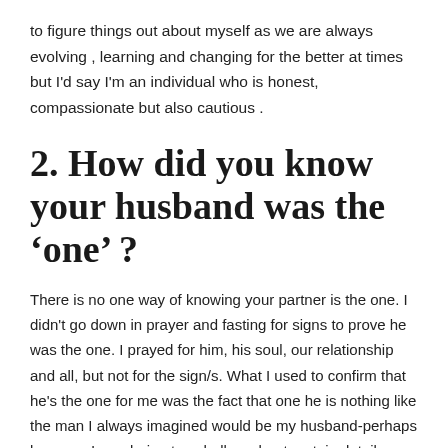to figure things out about myself as we are always evolving , learning and changing for the better at times but I'd say I'm an individual who is honest, compassionate but also cautious .
2. How did you know your husband was the ‘one’ ?
There is no one way of knowing your partner is the one. I didn't go down in prayer and fasting for signs to prove he was the one. I prayed for him, his soul, our relationship and all, but not for the sign/s. What I used to confirm that he's the one for me was the fact that one he is nothing like the man I always imagined would be my husband-perhaps because I was being too shallow about certain details. Two, I know that even if I strayed from God, He still speaks through our leaders and when I took him to my home church and introductions made,